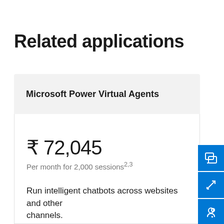Related applications
Microsoft Power Virtual Agents
₹ 72,045
Per month for 2,000 sessions2,3
Run intelligent chatbots across websites and other channels.